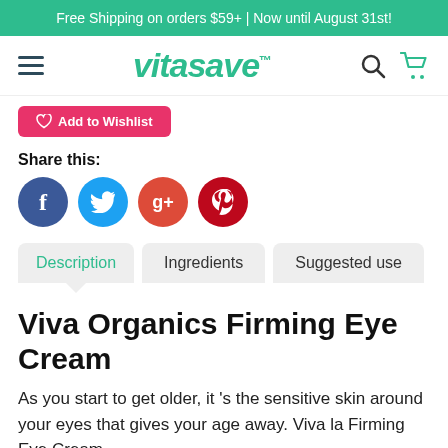Free Shipping on orders $59+ | Now until August 31st!
[Figure (logo): Vitasave logo with hamburger menu, search icon, and cart icon navigation bar]
[Figure (other): Partially visible pink Add to Wishlist button]
Share this:
[Figure (other): Social media sharing icons: Facebook, Twitter, Google+, Pinterest]
Description | Ingredients | Suggested use tabs
Viva Organics Firming Eye Cream
As you start to get older, it's the sensitive skin around your eyes that gives your age away. Viva la Firming Eye Cream